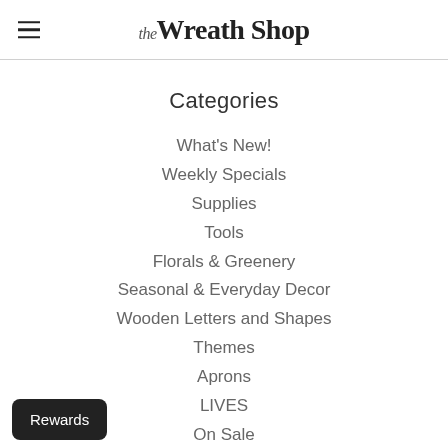the Wreath Shop
Categories
What's New!
Weekly Specials
Supplies
Tools
Florals & Greenery
Seasonal & Everyday Decor
Wooden Letters and Shapes
Themes
Aprons
LIVES
On Sale
Wreaths
Info
Rewards